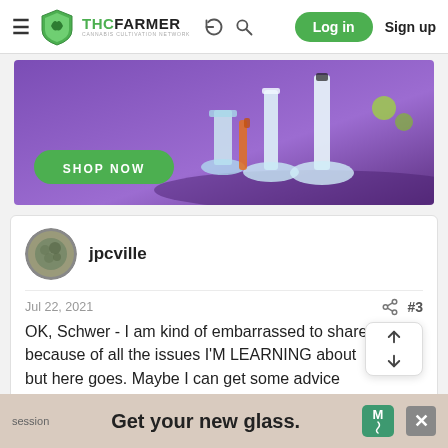THCFarmer - Cannabis Cultivation Network | Log in | Sign up
[Figure (photo): Advertisement banner with purple background showing glass bongs/beakers and a green 'SHOP NOW' button]
jpcville
Jul 22, 2021  #3
OK, Schwer - I am kind of embarrassed to share because of all the issues I'M LEARNING about but here goes. Maybe I can get some advice from the experts on how to
[Figure (screenshot): Bottom advertisement banner: 'session | Get your new glass.' with Medianet badge and close button]